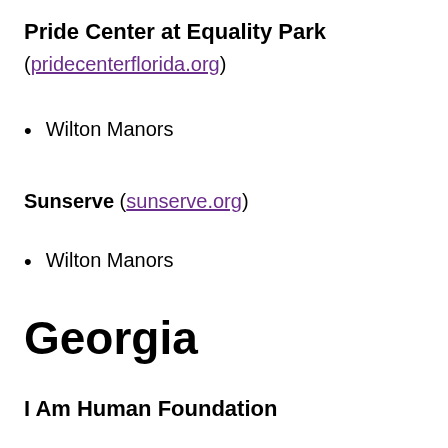Pride Center at Equality Park
(pridecenterflorida.org)
Wilton Manors
Sunserve (sunserve.org)
Wilton Manors
Georgia
I Am Human Foundation